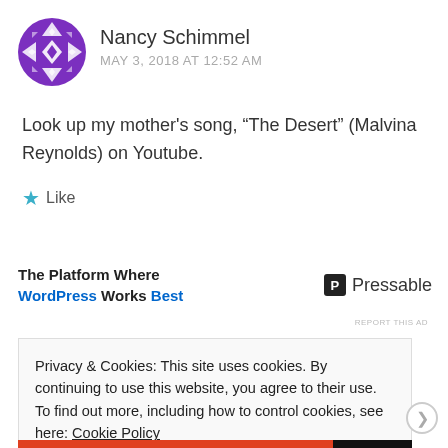[Figure (illustration): Purple geometric avatar with diamond/triangle pattern]
Nancy Schimmel
MAY 3, 2018 AT 12:52 AM
Look up my mother's song, “The Desert” (Malvina Reynolds) on Youtube.
★ Like
[Figure (infographic): Ad banner: The Platform Where WordPress Works Best / Pressable logo]
REPORT THIS AD
Privacy & Cookies: This site uses cookies. By continuing to use this website, you agree to their use.
To find out more, including how to control cookies, see here: Cookie Policy
Close and accept